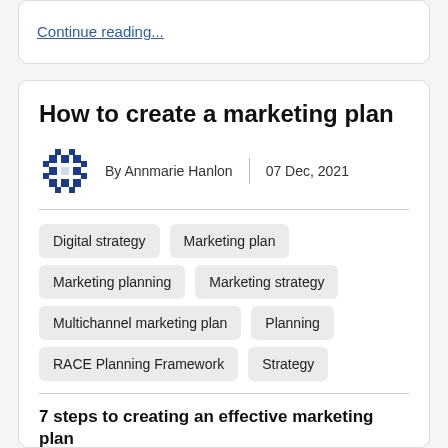Continue reading...
How to create a marketing plan
By Annmarie Hanlon | 07 Dec, 2021
Digital strategy
Marketing plan
Marketing planning
Marketing strategy
Multichannel marketing plan
Planning
RACE Planning Framework
Strategy
7 steps to creating an effective marketing plan